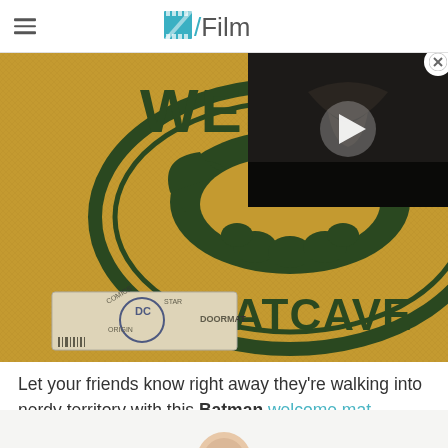/Film
[Figure (photo): A Batman 'Welcome to the Batcave' doormat with a DC Comics tag attached, on a tan/gold coir mat with dark green lettering and Batman logo]
[Figure (screenshot): A video overlay in the top-right showing a dark scene with a play button triangle, and a close (X) button in top-right corner]
Let your friends know right away they're walking into nerdy territory with this Batman welcome mat.